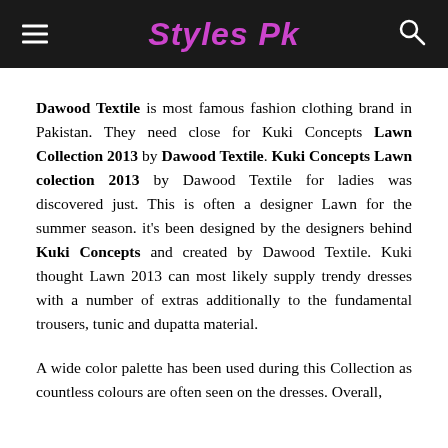Styles Pk
Dawood Textile is most famous fashion clothing brand in Pakistan. They need close for Kuki Concepts Lawn Collection 2013 by Dawood Textile. Kuki Concepts Lawn colection 2013 by Dawood Textile for ladies was discovered just. This is often a designer Lawn for the summer season. it's been designed by the designers behind Kuki Concepts and created by Dawood Textile. Kuki thought Lawn 2013 can most likely supply trendy dresses with a number of extras additionally to the fundamental trousers, tunic and dupatta material.
A wide color palette has been used during this Collection as countless colours are often seen on the dresses. Overall,